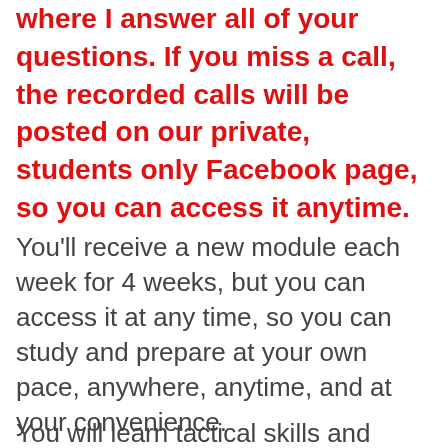where I answer all of your questions. If you miss a call, the recorded calls will be posted on our private, students only Facebook page, so you can access it anytime.
You'll receive a new module each week for 4 weeks, but you can access it at any time, so you can study and prepare at your own pace, anywhere, anytime, and at your convenience.
You will learn tactical skills and apply